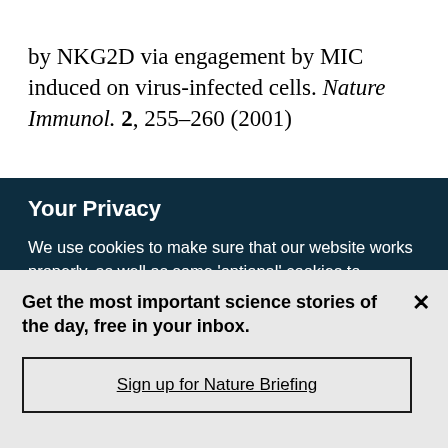by NKG2D via engagement by MIC induced on virus-infected cells. Nature Immunol. 2, 255–260 (2001)
Your Privacy
We use cookies to make sure that our website works properly, as well as some 'optional' cookies to personalise content and advertising, provide social media features and analyse how people use our site. By accepting some or all optional cookies you give consent to the processing of your personal data, including transfer to third parties, some in countries outside of the European Economic Area that do not offer the same data protection standards as the country where you live. You can decide which optional cookies to accept by clicking on 'Manage Settings', where you can
Get the most important science stories of the day, free in your inbox.
Sign up for Nature Briefing